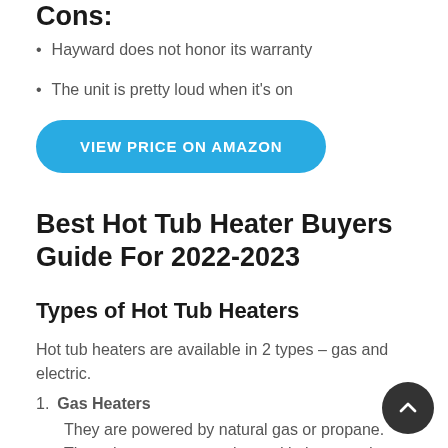Cons:
Hayward does not honor its warranty
The unit is pretty loud when it's on
[Figure (other): Blue rounded button reading VIEW PRICE ON AMAZON]
Best Hot Tub Heater Buyers Guide For 2022-2023
Types of Hot Tub Heaters
Hot tub heaters are available in 2 types – gas and electric.
Gas Heaters
They are powered by natural gas or propane. These heaters are mostly used in in-ground spas, portable spas or free-standing wooden hot tubs. They are also known as...